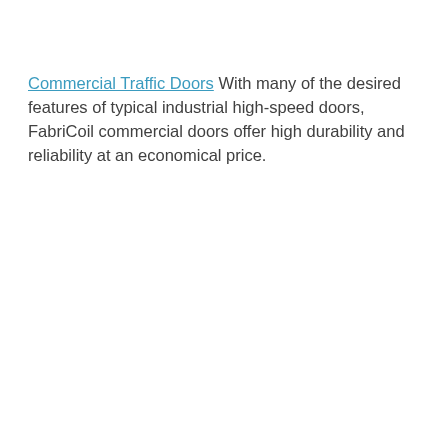Commercial Traffic Doors With many of the desired features of typical industrial high-speed doors, FabriCoil commercial doors offer high durability and reliability at an economical price.